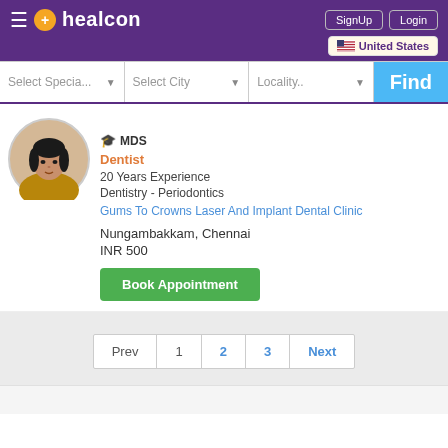healcon — SignUp | Login | United States
Select Specia... | Select City | Locality.. | Find
MDS
Dentist
20 Years Experience
Dentistry - Periodontics
Gums To Crowns Laser And Implant Dental Clinic
Nungambakkam, Chennai
INR 500
Book Appointment
Prev  1  2  3  Next